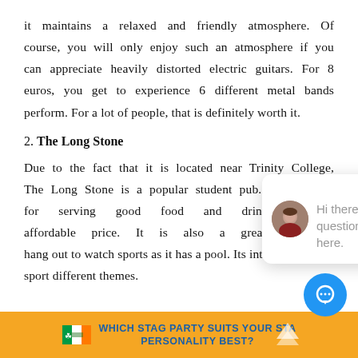it maintains a relaxed and friendly atmosphere. Of course, you will only enjoy such an atmosphere if you can appreciate heavily distorted electric guitars. For 8 euros, you get to experience 6 different metal bands perform. For a lot of people, that is definitely worth it.
2. The Long Stone
Due to the fact that it is located near Trinity College, The Long Stone is a popular student pub. It is known for serving good food and drinks at an affordable price. It is also a great place to hang out to watch sports as it has a pool. Its interior is quite unique as different rooms sport different themes.
[Figure (screenshot): Chat popup with close button, avatar of a woman, and text: Hi there, have a question? Chat us here.]
[Figure (infographic): Footer banner with Irish flag and text: WHICH STAG PARTY SUITS YOUR STAG PERSONALITY BEST?]